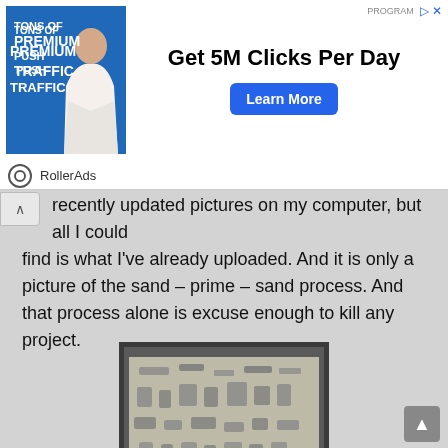[Figure (other): Advertisement banner: 'Get 5M Clicks Per Day' with RollerAds branding, woman image, and Learn More button]
recently updated pictures on my computer, but all I could find is what I've already uploaded. And it is only a picture of the sand – prime – sand process. And that process alone is excuse enough to kill any project.
[Figure (photo): Photo of model parts laid out on a table, showing various small plastic pieces arranged for priming or painting]
I even had a paint scheme planned out all those 8 years ago. That's completely changed now since I started back up this past week. At this point, I just want to finish the sucker, so nothing too fancy with the paint scheme. I've had some Hi Nu decals sitting for longer than 8 years, so time to stick with the basic scheme; with just the smallest amount of